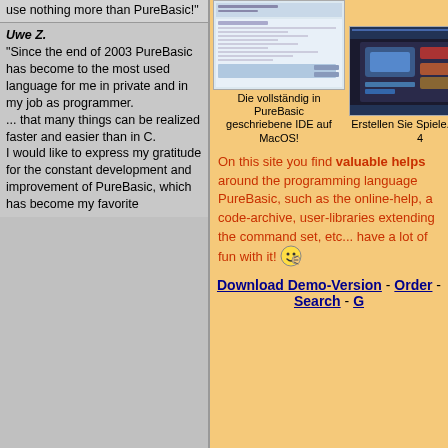use nothing more than PureBasic!"
Uwe Z. "Since the end of 2003 PureBasic has become to the most used language for me in private and in my job as programmer. ... that many things can be realized faster and easier than in C. I would like to express my gratitude for the constant development and improvement of PureBasic, which has become my favorite
[Figure (screenshot): Screenshot of PureBasic IDE on MacOS]
Die vollständig in PureBasic geschriebene IDE auf MacOS!
[Figure (screenshot): Screenshot of Lethal 4 game]
Erstellen Sie Spiele... Lethal 4
[Figure (screenshot): Screenshot of Elementary R application]
... und Anwend... Elementary R...
On this site you find valuable helps around the programming language PureBasic, such as the online-help, a code-archive, user-libraries extending the command set, etc... have a lot of fun with it!
Download Demo-Version - Order - Search - G...